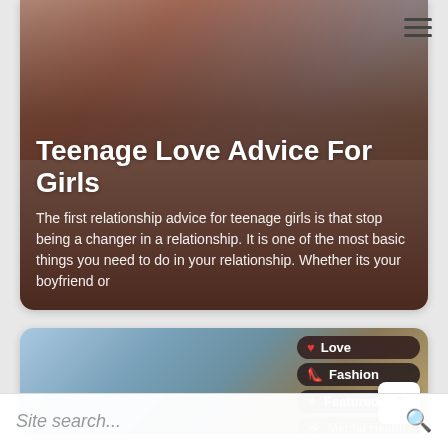[Figure (photo): Top article card showing a teenage couple, girl with arms crossed looking sad, overlaid with article title and excerpt text on a dark gradient background]
Teenage Love Advice For Girls
The first relationship advice for teenage girls is that stop being a changer in a relationship. It is one of the most basic things you need to do in your relationship. Whether its your boyfriend or
[Figure (photo): Bottom article card showing a street scene with palm trees and a person, with category navigation pills overlaid: Love, Fashion, Featured, Mental Health, Confidence]
Love
Fashion
Featured
Mental Health
Confidence
Site search...